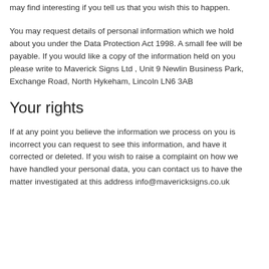promotional information about third parties which we think you may find interesting if you tell us that you wish this to happen.
You may request details of personal information which we hold about you under the Data Protection Act 1998. A small fee will be payable. If you would like a copy of the information held on you please write to Maverick Signs Ltd , Unit 9 Newlin Business Park, Exchange Road, North Hykeham, Lincoln LN6 3AB
Your rights
If at any point you believe the information we process on you is incorrect you can request to see this information, and have it corrected or deleted. If you wish to raise a complaint on how we have handled your personal data, you can contact us to have the matter investigated at this address info@mavericksigns.co.uk